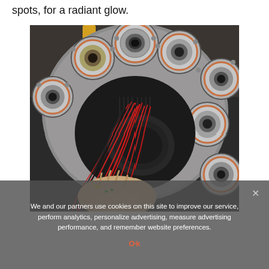spots, for a radiant glow.
[Figure (photo): Close-up photo of a spherical assembly of multiple projector/lens units arranged in a dome shape, with red wiring and internal mechanical components visible. A person's hands are seen working on the device from below.]
We and our partners use cookies on this site to improve our service, perform analytics, personalize advertising, measure advertising performance, and remember website preferences.
Ok